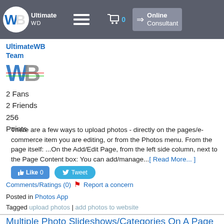Ultimate WB — Online Consultant
UltimateWB Team
[Figure (logo): WB multicolor logo]
2 Fans
2 Friends
256
Points
There are a few ways to upload photos - directly on the pages/e-commerce item you are editing, or from the Photos menu. From the page itself: ...On the Add/Edit Page, from the left side column, next to the Page Content box: You can add/manage...[ Read More... ]
Like 0   Tweet
Comments/Ratings (0)   Report a concern
Posted in Photos App
Tagged upload photos | add photos to website
Multiple Photo Slideshows/Categories On A Page